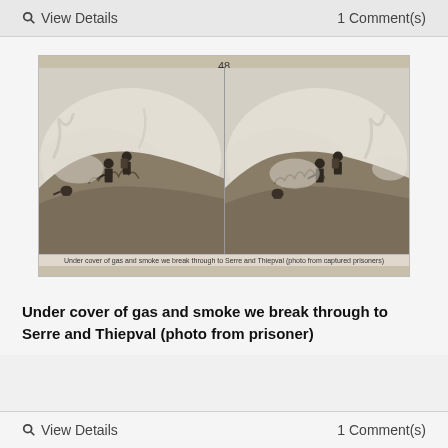🔍 View Details    1 Comment(s)
[Figure (photo): Stereoscopic photograph numbered 48 showing soldiers in silhouette amid gas and smoke on a hillside, WWI scene. The same image appears twice side by side as a stereograph. Caption at bottom reads: Under cover of gas and smoke we break through to Serre and Thiepval (photo from captured prisoners).]
Under cover of gas and smoke we break through to Serre and Thiepval (photo from prisoner)
🔍 View Details    1 Comment(s)